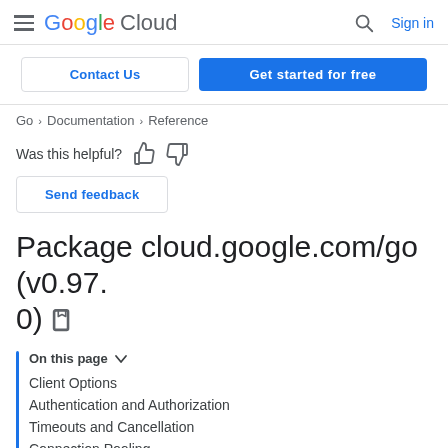Google Cloud — Search — Sign in
Contact Us | Get started for free
Go > Documentation > Reference
Was this helpful? [thumbs up] [thumbs down]
Send feedback
Package cloud.google.com/go (v0.97.0)
On this page
Client Options
Authentication and Authorization
Timeouts and Cancellation
Connection Pooling